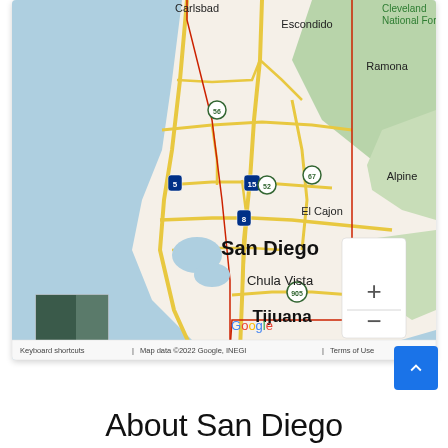[Figure (map): Google Maps screenshot showing San Diego county area including Carlsbad, Escondido, Cleveland National Forest, Ramona, Alpine, El Cajon, San Diego, Chula Vista, Tijuana. Shows interstate highways (5, 15, 8, 52, 56, 67, 905), zoom controls (+/-), satellite thumbnail, and footer with 'Keyboard shortcuts | Map data ©2022 Google, INEGI | Terms of Use'.]
About San Diego